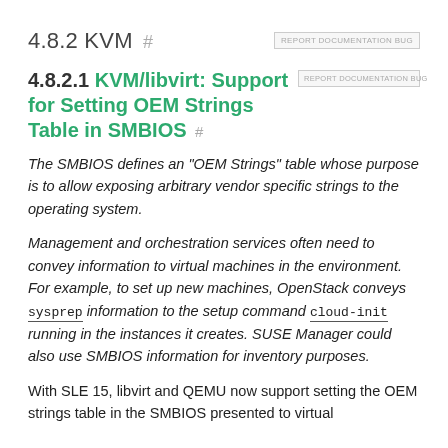4.8.2 KVM #
4.8.2.1 KVM/libvirt: Support for Setting OEM Strings Table in SMBIOS #
The SMBIOS defines an "OEM Strings" table whose purpose is to allow exposing arbitrary vendor specific strings to the operating system.
Management and orchestration services often need to convey information to virtual machines in the environment. For example, to set up new machines, OpenStack conveys sysprep information to the setup command cloud-init running in the instances it creates. SUSE Manager could also use SMBIOS information for inventory purposes.
With SLE 15, libvirt and QEMU now support setting the OEM strings table in the SMBIOS presented to virtual